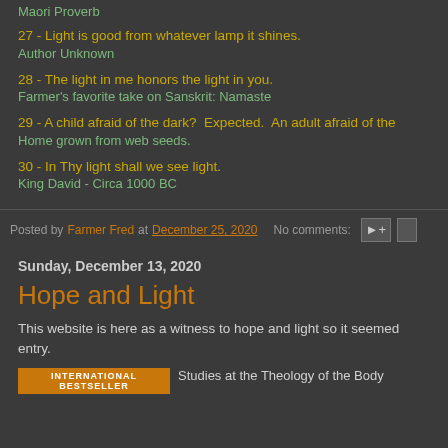Maori Proverb
27 - Light is good from whatever lamp it shines.
Author Unknown
28 - The light in me honors the light in you.
Farmer's favorite take on Sanskrit: Namaste
29 - A child afraid of the dark?  Expected.  An adult afraid of the...
Home grown from web seeds.
30 - In Thy light shall we see light.
King David - Circa 1000 BC
Posted by Farmer Fred at December 25, 2020   No comments:
Sunday, December 13, 2020
Hope and Light
This website is here as a witness to hope and light so it seemed... entry.
INTERNATIONAL BESTSELLER   Studies at the Theology of the Body